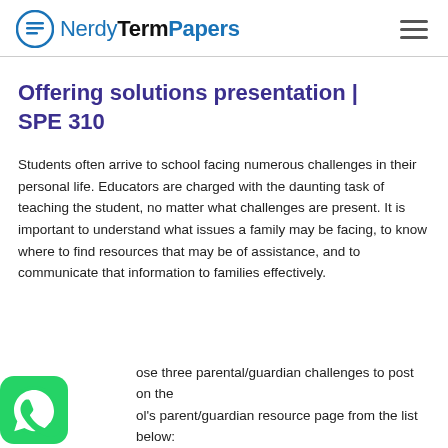NerdyTermPapers
Offering solutions presentation | SPE 310
Students often arrive to school facing numerous challenges in their personal life. Educators are charged with the daunting task of teaching the student, no matter what challenges are present. It is important to understand what issues a family may be facing, to know where to find resources that may be of assistance, and to communicate that information to families effectively.
...ose three parental/guardian challenges to post on the ...ool's parent/guardian resource page from the list below: